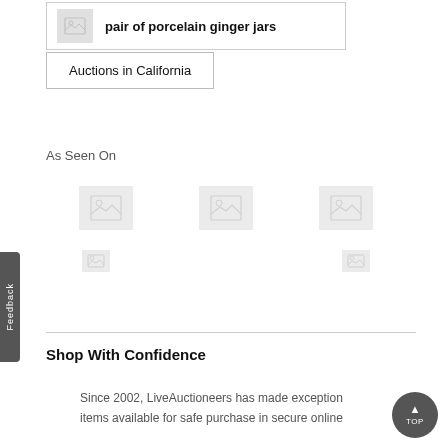[Figure (other): Thumbnail placeholder image for pair of porcelain ginger jars listing]
pair of porcelain ginger jars
Auctions in California
As Seen On
[Figure (other): Three large placeholder images representing media logos]
[Figure (other): Two small placeholder images representing media logos]
Shop With Confidence
Since 2002, LiveAuctioneers has made exceptional items available for safe purchase in secure online